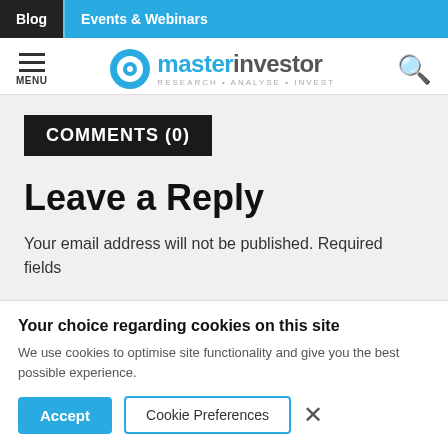Blog | Events & Webinars
[Figure (logo): Master Investor logo with circular target icon and tagline RESEARCH • ANALYSE • INVEST]
COMMENTS (0)
Leave a Reply
Your email address will not be published. Required fields
Your choice regarding cookies on this site
We use cookies to optimise site functionality and give you the best possible experience.
Accept | Cookie Preferences | ×